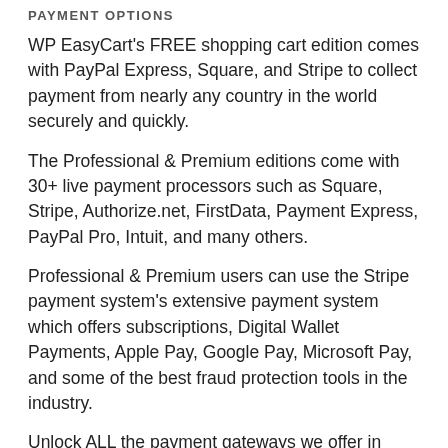PAYMENT OPTIONS
WP EasyCart's FREE shopping cart edition comes with PayPal Express, Square, and Stripe to collect payment from nearly any country in the world securely and quickly.
The Professional & Premium editions come with 30+ live payment processors such as Square, Stripe, Authorize.net, FirstData, Payment Express, PayPal Pro, Intuit, and many others.
Professional & Premium users can use the Stripe payment system's extensive payment system which offers subscriptions, Digital Wallet Payments, Apple Pay, Google Pay, Microsoft Pay, and some of the best fraud protection tools in the industry.
Unlock ALL the payment gateways we offer in either of these popular editions. View a complete list of all free and paid edition payment gateways: View All...